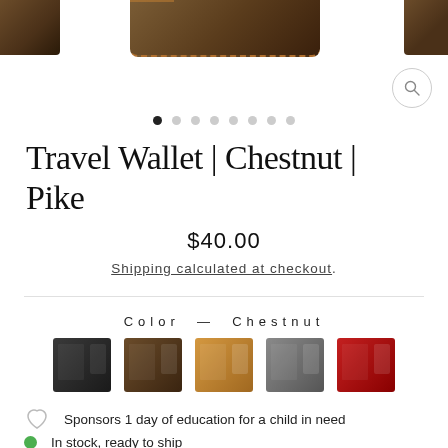[Figure (photo): Product photo of a leather travel wallet in chestnut/brown color, partially visible at top of page]
Travel Wallet | Chestnut | Pike
$40.00
Shipping calculated at checkout.
Color — Chestnut
[Figure (photo): Five color swatches of leather wallets: black, chestnut, tan/caramel, grey, and red]
Sponsors 1 day of education for a child in need
In stock, ready to ship